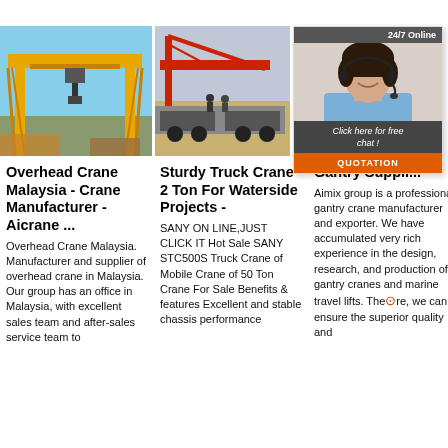[Figure (photo): Yellow gantry/overhead crane outdoors with blue sky]
[Figure (photo): Red truck/mobile crane for waterside projects on sandy ground]
[Figure (photo): Yellow and red overhead crane in warehouse interior; 24/7 Online chat widget with female avatar, 'Click here for free chat!' and QUOTATION button]
Overhead Crane Malaysia - Crane Manufacturer - Aicrane ...
Overhead Crane Malaysia. Manufacturer and supplier of overhead crane in Malaysia. Our group has an office in Malaysia, with excellent sales team and after-sales service team to
Sturdy Truck Crane 2 Ton For Waterside Projects -
SANY ON LINE,JUST CLICK IT Hot Sale SANY STC500S Truck Crane of Mobile Crane of 50 Ton Crane For Sale Benefits & features Excellent and stable chassis performance
Gantry Suppli...
Aimix group is a professional gantry crane manufacturer and exporter. We have accumulated very rich experience in the design, research, and production of gantry cranes and marine travel lifts. The[icon]re, we can ensure the superior quality and